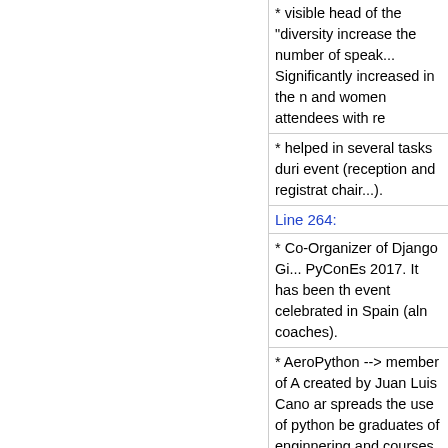* visible head of the "diversity... increase the number of speak... Significantly increased in the n... and women attendees with re...
* helped in several tasks duri... event (reception and registrat... chair...).
Line 264:
* Co-Organizer of Django Gi... PyConEs 2017. It has been th... event celebrated in Spain (aln... coaches).
* AeroPython --> member of A... created by Juan Luis Cano ar... spreads the use of python be... graduates of enginnering and... courses in Universities and m... that teach scientifics package...
Line 268: